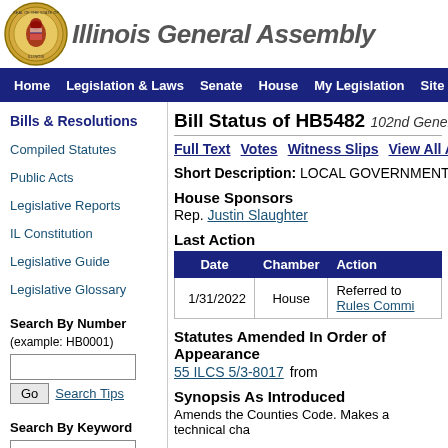Illinois General Assembly
Home  Legislation & Laws  Senate  House  My Legislation  Site Map
Bill Status of HB5482  102nd General Assembly
Full Text  Votes  Witness Slips  View All Actions
Short Description:  LOCAL GOVERNMENT-TECH
House Sponsors
Rep. Justin Slaughter
Last Action
| Date | Chamber | Action |
| --- | --- | --- |
| 1/31/2022 | House | Referred to Rules Commi... |
Statutes Amended In Order of Appearance
55 ILCS 5/3-8017  from
Synopsis As Introduced
Amends the Counties Code. Makes a technical cha...
Bills & Resolutions
Compiled Statutes
Public Acts
Legislative Reports
IL Constitution
Legislative Guide
Legislative Glossary
Search By Number (example: HB0001)
Search By Keyword